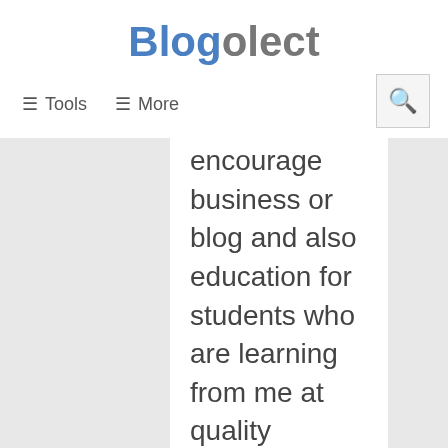Blogolect
≡ Tools   ≡ More
encourage business or blog and also education for students who are learning from me at quality assignment help and providing in UK. We know, Facebook and Twitter are both the leaders in this massive business so every website proprietor uses this actual approach to